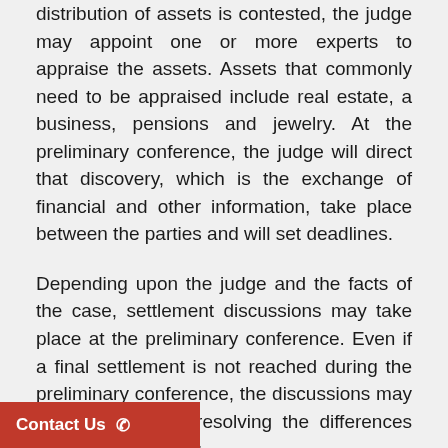distribution of assets is contested, the judge may appoint one or more experts to appraise the assets. Assets that commonly need to be appraised include real estate, a business, pensions and jewelry. At the preliminary conference, the judge will direct that discovery, which is the exchange of financial and other information, take place between the parties and will set deadlines.
Depending upon the judge and the facts of the case, settlement discussions may take place at the preliminary conference. Even if a final settlement is not reached during the preliminary conference, the discussions may be useful toward resolving the differences between the parties.
At the end of the preliminary conference, the judge will issue a PC Order, which will include identification of the issues in dispute and a timetable for the exchange of information.